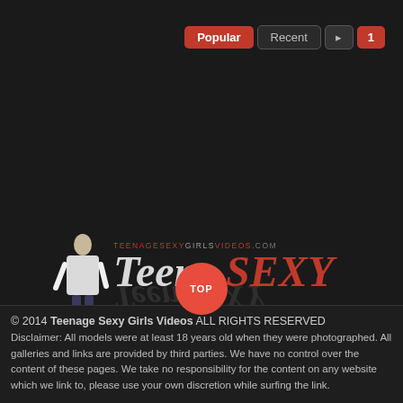Popular | Recent | 1
[Figure (logo): TeenSEXY logo with silhouette of a young woman on the left, text TEENAGESEXYGIRLSVIDEOS.COM above and TeenSEXY in large stylized text below]
© 2014 Teenage Sexy Girls Videos ALL RIGHTS RESERVED
Disclaimer: All models were at least 18 years old when they were photographed. All galleries and links are provided by third parties. We have no control over the content of these pages. We take no responsibility for the content on any website which we link to, please use your own discretion while surfing the link.